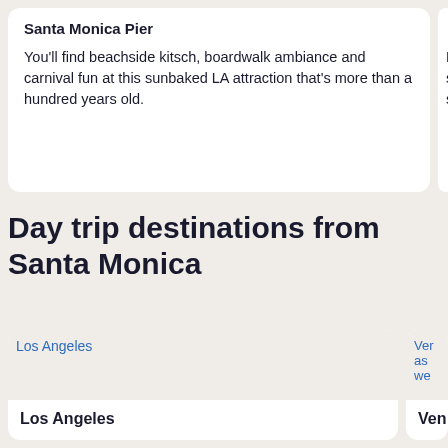Santa Monica Pier
You'll find beachside kitsch, boardwalk ambiance and carnival fun at this sunbaked LA attraction that's more than a hundred years old.
San...
Loca south surfe
Day trip destinations from Santa Monica
[Figure (photo): Los Angeles destination card with placeholder image]
Los Angeles
[Figure (photo): Venice/another destination card partially visible]
Ven